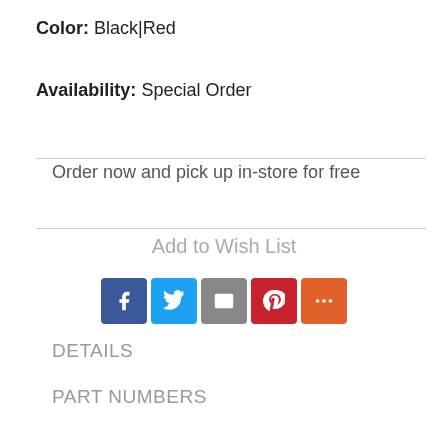Color: Black|Red
Availability: Special Order
Order now and pick up in-store for free
Add to Wish List
[Figure (infographic): Social sharing icons: Facebook (blue), Twitter (light blue), Email (gray), Pinterest (red), More (orange)]
DETAILS
PART NUMBERS
REVIEWS
Details